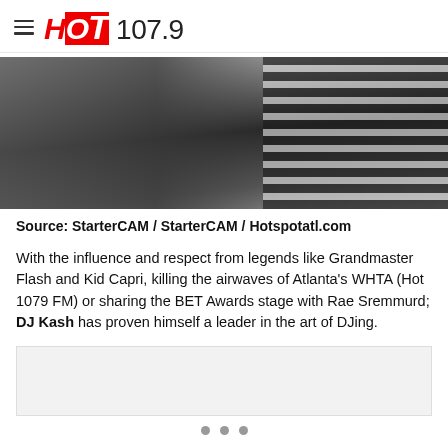HOT 107.9
[Figure (photo): Cropped photo showing people's torsos; one person in a black top, another in a black and white horizontal striped top, partial view of hands and arms]
Source: StarterCAM / StarterCAM / Hotspotatl.com
With the influence and respect from legends like Grandmaster Flash and Kid Capri, killing the airwaves of Atlanta's WHTA (Hot 1079 FM) or sharing the BET Awards stage with Rae Sremmurd; DJ Kash has proven himself a leader in the art of DJing.
[Figure (other): Advertisement placeholder (gray box)]